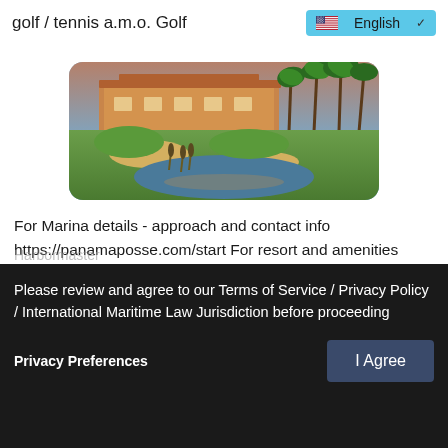golf / tennis a.m.o. Golf   English
[Figure (photo): Golf course with resort buildings in background, palm trees, green fairways, water hazard, and sand bunkers. Warm sunset lighting.]
For Marina details - approach and contact info https://panamaposse.com/start For resort and amenities details (- 45 minutes from Manzanillo Airport) at https://www.islanavidad.com.mx/site/US/index.php Harbormaster Secundino Alvarez
Harbormaster
Please review and agree to our Terms of Service / Privacy Policy / International Maritime Law Jurisdiction before proceeding
Privacy Preferences
I Agree